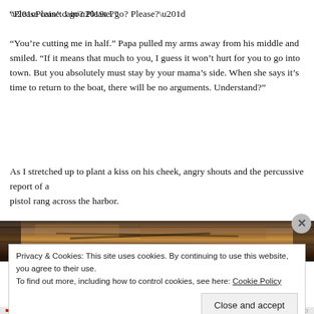“Please cain’t I go? Please?”
“You’re cutting me in half.” Papa pulled my arms away from his middle and smiled. “If it means that much to you, I guess it won’t hurt for you to go into town. But you absolutely must stay by your mama’s side. When she says it’s time to return to the boat, there will be no arguments. Understand?”
As I stretched up to plant a kiss on his cheek, angry shouts and the percussive report of a pistol rang across the harbor.
[Figure (photo): A dark brown photograph strip showing what appears to be a harbor or dock scene with wooden elements, partially obscured.]
Privacy & Cookies: This site uses cookies. By continuing to use this website, you agree to their use.
To find out more, including how to control cookies, see here: Cookie Policy

Close and accept